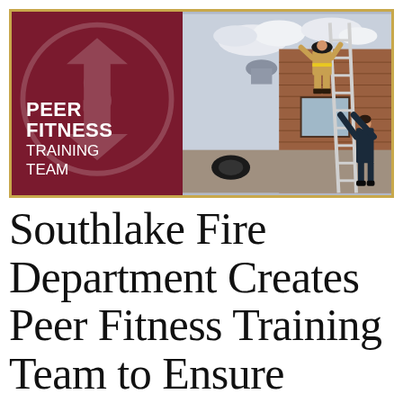[Figure (photo): Banner image split into two panels with a gold border. Left panel: dark maroon/red background with a semi-transparent circular emblem (stylized 'S' with arrows) and white bold text reading 'PEER FITNESS TRAINING TEAM'. Right panel: photograph of two firefighters at a brick building — one firefighter in full gear climbing a ladder leaned against the building, another firefighter in dark uniform at the base steadying the ladder.]
Southlake Fire Department Creates Peer Fitness Training Team to Ensure Firefighters Ready